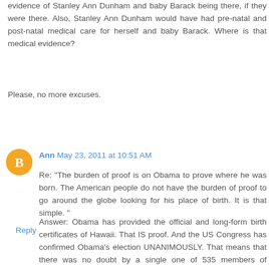evidence of Stanley Ann Dunham and baby Barack being there, if they were there. Also, Stanley Ann Dunham would have had pre-natal and post-natal medical care for herself and baby Barack. Where is that medical evidence?
Please, no more excuses.
Reply
Ann May 23, 2011 at 10:51 AM
Re: "The burden of proof is on Obama to prove where he was born. The American people do not have the burden of proof to go around the globe looking for his place of birth. It is that simple. "
Answer: Obama has provided the official and long-form birth certificates of Hawaii. That IS proof. And the US Congress has confirmed Obama's election UNANIMOUSLY. That means that there was no doubt by a single one of 535 members of Congress that Obama was born outside of the USA or that the citizenship of Obama's